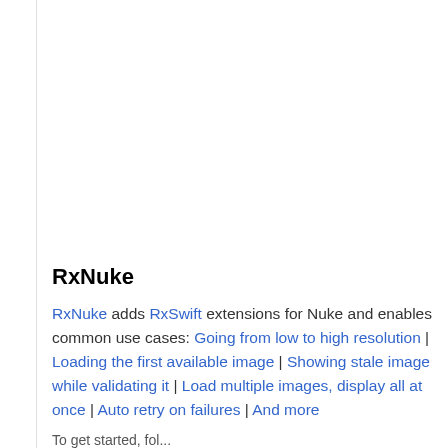RxNuke
RxNuke adds RxSwift extensions for Nuke and enables common use cases: Going from low to high resolution | Loading the first available image | Showing stale image while validating it | Load multiple images, display all at once | Auto retry on failures | And more
To get started, fol...